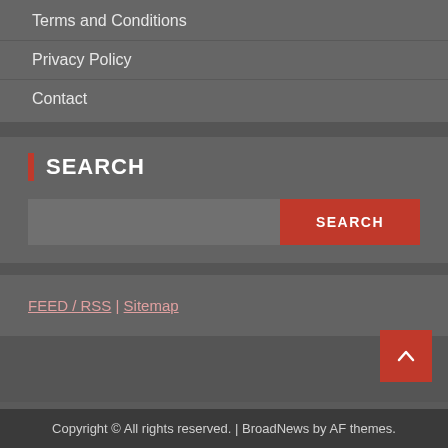Terms and Conditions
Privacy Policy
Contact
SEARCH
SEARCH (button)
FEED / RSS | Sitemap
Copyright © All rights reserved. | BroadNews by AF themes.